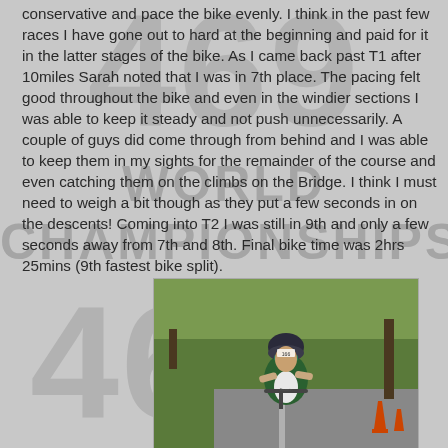conservative and pace the bike evenly. I think in the past few races I have gone out to hard at the beginning and paid for it in the latter stages of the bike. As I came back past T1 after 10miles Sarah noted that I was in 7th place. The pacing felt good throughout the bike and even in the windier sections I was able to keep it steady and not push unnecessarily. A couple of guys did come through from behind and I was able to keep them in my sights for the remainder of the course and even catching them on the climbs on the Bridge. I think I must need to weigh a bit though as they put a few seconds in on the descents! Coming into T2 I was still in 9th and only a few seconds away from 7th and 8th. Final bike time was 2hrs 25mins (9th fastest bike split).
[Figure (photo): A male triathlete on a bicycle wearing a helmet with race number 166, green and white tri suit, sunglasses, riding through a tree-lined road with orange traffic cones visible.]